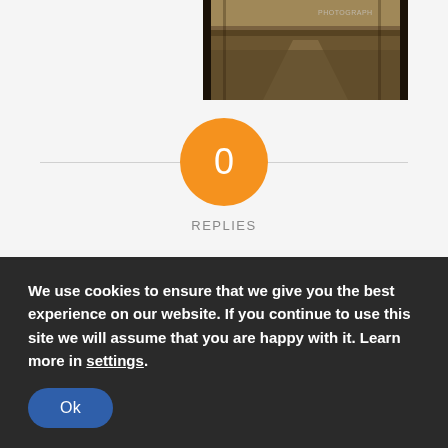[Figure (photo): A cropped top portion of a vintage photograph showing a dirt path or road scene, partially visible at the top of the page.]
0
REPLIES
Leave a Reply
Want to join the discussion?
Feel free to contribute!
We use cookies to ensure that we give you the best experience on our website. If you continue to use this site we will assume that you are happy with it. Learn more in settings.